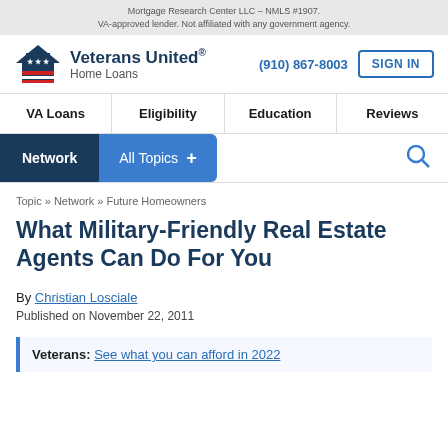Mortgage Research Center LLC – NMLS #1907. VA-approved lender. Not affiliated with any government agency.
[Figure (logo): Veterans United Home Loans logo with house icon featuring stars and stripes]
(910) 867-8003
SIGN IN
VA Loans | Eligibility | Education | Reviews
Network   All Topics +
Topic » Network » Future Homeowners
What Military-Friendly Real Estate Agents Can Do For You
By Christian Losciale
Published on November 22, 2011
Veterans: See what you can afford in 2022